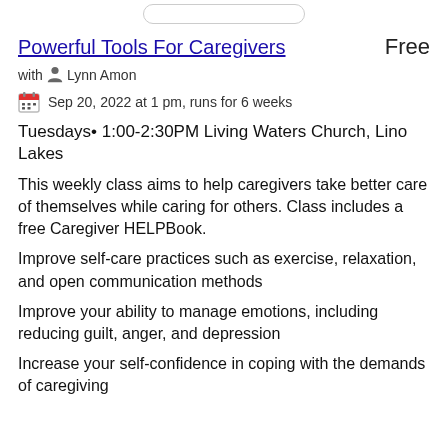Powerful Tools For Caregivers    Free
with  Lynn Amon
Sep 20, 2022 at 1 pm, runs for 6 weeks
Tuesdays• 1:00-2:30PM Living Waters Church, Lino Lakes
This weekly class aims to help caregivers take better care of themselves while caring for others. Class includes a free Caregiver HELPBook.
Improve self-care practices such as exercise, relaxation, and open communication methods
Improve your ability to manage emotions, including reducing guilt, anger, and depression
Increase your self-confidence in coping with the demands of caregiving